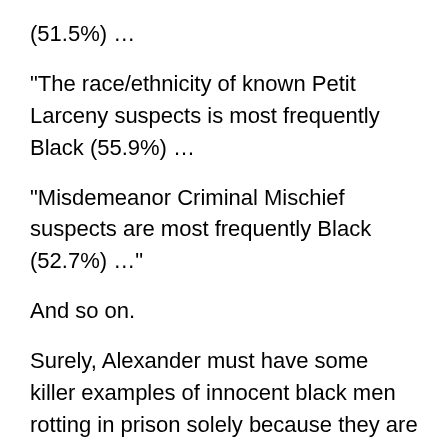(51.5%) …
“The race/ethnicity of known Petit Larceny suspects is most frequently Black (55.9%) …
“Misdemeanor Criminal Mischief suspects are most frequently Black (52.7%) …”
And so on.
Surely, Alexander must have some killer examples of innocent black men rotting in prison solely because they are black. After all, it’s her book that launched the whole “mass incarceration” craze, with zealots, idiots and idiot-zealots demanding that all black men be released from prison — and pronto! (Trump to Biden at the first debate: “You call them ‘superpredators,’ and I’m letting people out of jail now.”)